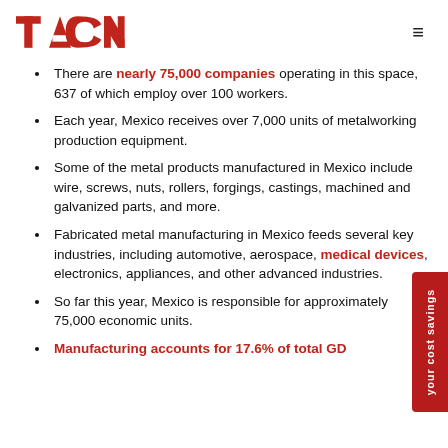TACNA
There are nearly 75,000 companies operating in this space, 637 of which employ over 100 workers.
Each year, Mexico receives over 7,000 units of metalworking production equipment.
Some of the metal products manufactured in Mexico include wire, screws, nuts, rollers, forgings, castings, machined and galvanized parts, and more.
Fabricated metal manufacturing in Mexico feeds several key industries, including automotive, aerospace, medical devices, electronics, appliances, and other advanced industries.
So far this year, Mexico is responsible for approximately 75,000 economic units.
Manufacturing accounts for 17.6% of total GD...